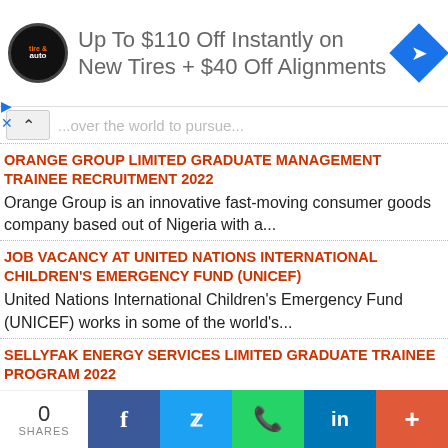[Figure (other): Advertisement banner: tire & auto logo, text 'Up To $110 Off Instantly on New Tires + $40 Off Alignments', blue diamond navigation icon]
...over the world to pursue...
ORANGE GROUP LIMITED GRADUATE MANAGEMENT TRAINEE RECRUITMENT 2022
Orange Group is an innovative fast-moving consumer goods company based out of Nigeria with a...
JOB VACANCY AT UNITED NATIONS INTERNATIONAL CHILDREN'S EMERGENCY FUND (UNICEF)
United Nations International Children's Emergency Fund (UNICEF) works in some of the world's...
SELLYFAK ENERGY SERVICES LIMITED GRADUATE TRAINEE PROGRAM 2022
0 SHARES | Facebook | Twitter | WhatsApp | LinkedIn | More